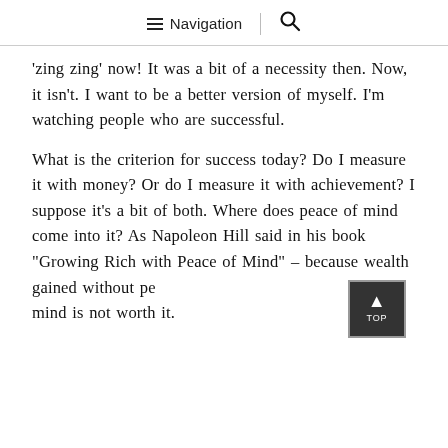≡ Navigation | 🔍
'zing zing' now! It was a bit of a necessity then. Now, it isn't. I want to be a better version of myself. I'm watching people who are successful.
What is the criterion for success today? Do I measure it with money? Or do I measure it with achievement? I suppose it's a bit of both. Where does peace of mind come into it? As Napoleon Hill said in his book "Growing Rich with Peace of Mind" – because wealth gained without peace of mind is not worth it.